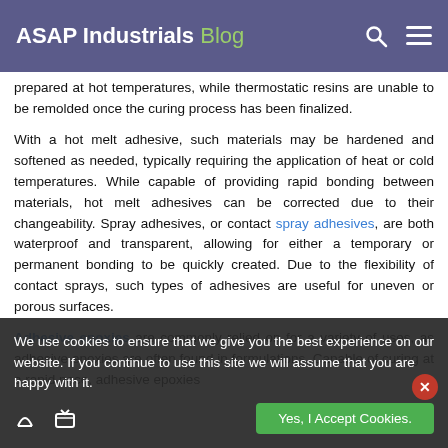ASAP Industrials Blog
prepared at hot temperatures, while thermostatic resins are unable to be remolded once the curing process has been finalized.
With a hot melt adhesive, such materials may be hardened and softened as needed, typically requiring the application of heat or cold temperatures. While capable of providing rapid bonding between materials, hot melt adhesives can be corrected due to their changeability. Spray adhesives, or contact spray adhesives, are both waterproof and transparent, allowing for either a temporary or permanent bonding to be quickly created. Due to the flexibility of contact sprays, such types of adhesives are useful for uneven or porous surfaces.
Adhesive epoxies are commonly relied on for a variety of uses, as adhesive epoxies are often found in formulations. Capable of curing at a rapid pace, adhesive epoxies
We use cookies to ensure that we give you the best experience on our website. If you continue to use this site we will assume that you are happy with it.